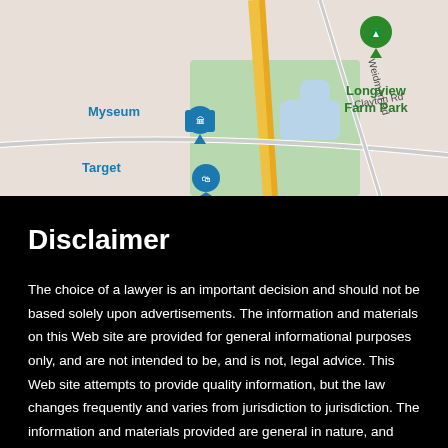[Figure (map): Google Maps screenshot showing area with Longview Farm Park, Myseum, Target, Weidman Rd, Clayton Rd labels and map pins]
Disclaimer
The choice of a lawyer is an important decision and should not be based solely upon advertisements. The information and materials on this Web site are provided for general informational purposes only, and are not intended to be, and is not, legal advice. This Web site attempts to provide quality information, but the law changes frequently and varies from jurisdiction to jurisdiction. The information and materials provided are general in nature, and may not apply to a specific factual or legal circumstance.